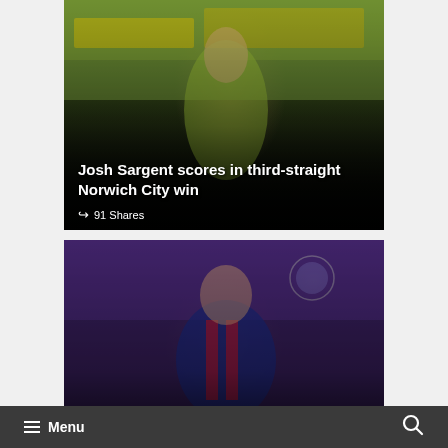[Figure (photo): Soccer player in yellow-green Norwich City jersey celebrating, with stadium signage in background. Dark gradient overlay at bottom.]
Josh Sargent scores in third-straight Norwich City win
91 Shares
[Figure (photo): Soccer player in dark blue and red FC Barcelona jersey running, with blurred crowd in background.]
Menu